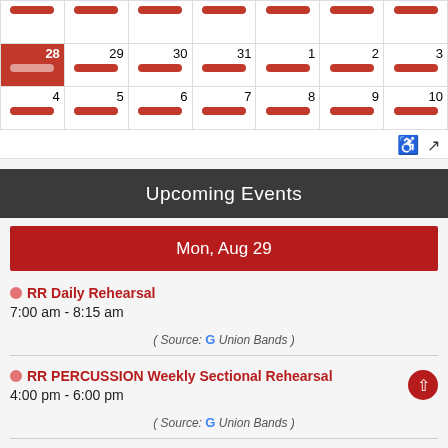[Figure (other): Partial calendar showing dates 28-31 and 1-10 with red pill-shaped event bars under each date, date 28 highlighted in red background]
Upcoming Events
Mon, Aug 29
RR Daily Rehearsal
7:00 am - 8:15 am
( Source: G Union Bands )
RR PERCUSSION Weekly Sectional Rehearsal
4:00 pm - 6:00 pm
( Source: G Union Bands )
RR GUARD Weekly Sectional Rehearsal
4:30 pm - 7:00 pm